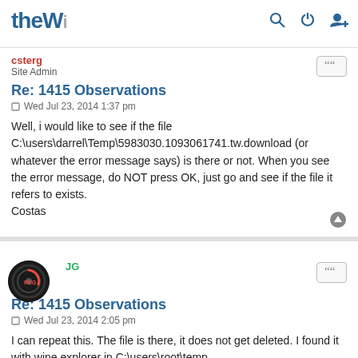theW [logo] with search, power, and user icons
csterg
Site Admin
Re: 1415 Observations
Wed Jul 23, 2014 1:37 pm
Well, i would like to see if the file C:\users\darrel\Temp\5983030.1093061741.tw.download (or whatever the error message says) is there or not. When you see the error message, do NOT press OK, just go and see if the file it refers to exists.
Costas
JG
Re: 1415 Observations
Wed Jul 23, 2014 2:05 pm
I can repeat this. The file is there, it does not get deleted. I found it with wine explorer in C:\users\root\temp